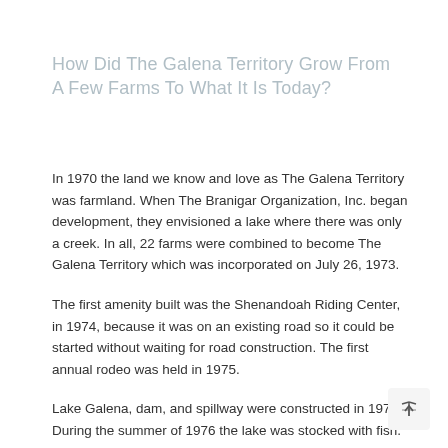How Did The Galena Territory Grow From A Few Farms To What It Is Today?
In 1970 the land we know and love as The Galena Territory was farmland. When The Branigar Organization, Inc. began development, they envisioned a lake where there was only a creek. In all, 22 farms were combined to become The Galena Territory which was incorporated on July 26, 1973.
The first amenity built was the Shenandoah Riding Center, in 1974, because it was on an existing road so it could be started without waiting for road construction. The first annual rodeo was held in 1975.
Lake Galena, dam, and spillway were constructed in 1974. During the summer of 1976 the lake was stocked with fish. 800 pounds of brown and rainbow trout, 500 largemouth bass, 4,000 blue gills, 2,100 channel cats, 2,000 perch, 50,000 northern pike and 50,000 walleyes were added.